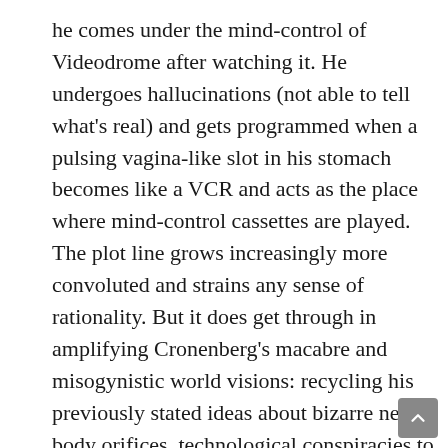he comes under the mind-control of Videodrome after watching it. He undergoes hallucinations (not able to tell what's real) and gets programmed when a pulsing vagina-like slot in his stomach becomes like a VCR and acts as the place where mind-control cassettes are played. The plot line grows increasingly more convoluted and strains any sense of rationality. But it does get through in amplifying Cronenberg's macabre and misogynistic world visions: recycling his previously stated ideas about bizarre new body orifices, technological conspiracies to change mankind and exploding bodies. It also adds on the Philip K. Dick thoughts of altered reality. The film was ahead of its time, coming out at a time when videos exploded on the scene, and though frustrating to watch because it's hard to tell what's real or not it nevertheless proved to be a real mind-bender and accurate in its bad pronouncements of television. Though at its release it was generally panned by critics and ignored by the public, it has of late become a